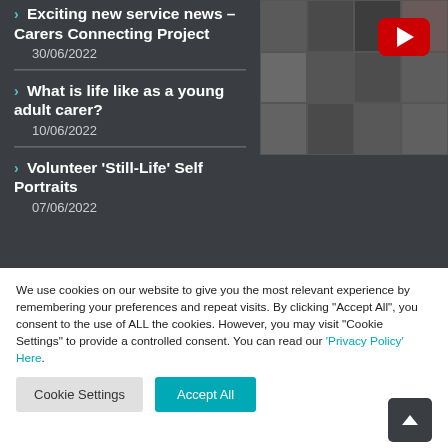Exciting new service news – Carers Connecting Project
30/06/2022
[Figure (screenshot): YouTube video thumbnail showing a grid of video call participants with a red YouTube play button overlay]
What is life like as a young adult carer?
10/06/2022
Volunteer 'Still-Life' Self Portraits
07/06/2022
We use cookies on our website to give you the most relevant experience by remembering your preferences and repeat visits. By clicking "Accept All", you consent to the use of ALL the cookies. However, you may visit "Cookie Settings" to provide a controlled consent. You can read our 'Privacy Policy' Here.